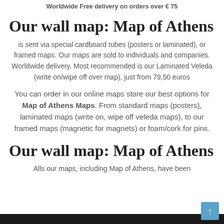Worldwide Free delivery on orders over € 75
Our wall map: Map of Athens
is sent via special cardboard tubes (posters or laminated), or framed maps. Our maps are sold to individuals and companies. Worldwide delivery. Most recommended is our Laminated Veleda (write on/wipe off over map), just from 79,50 euros
You can order in our online maps store our best options for Map of Athens Maps. From standard maps (posters), laminated maps (write on, wipe off veleda maps), to our framed maps (magnetic for magnets) or foam/cork for pins.
Our wall map: Map of Athens
Alls our maps, including Map of Athens, have been